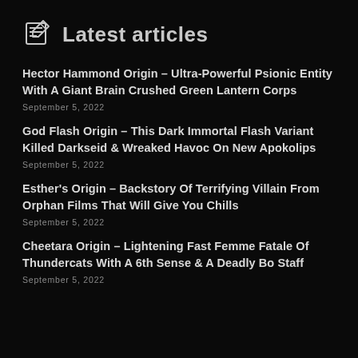Latest articles
Hector Hammond Origin – Ultra-Powerful Psionic Entity With A Giant Brain Crushed Green Lantern Corps
September 5, 2022
God Flash Origin – This Dark Immortal Flash Variant Killed Darkseid & Wreaked Havoc On New Apokolips
September 5, 2022
Esther's Origin – Backstory Of Terrifying Villain From Orphan Films That Will Give You Chills
September 5, 2022
Cheetara Origin – Lightening Fast Femme Fatale Of Thundercats With A 6th Sense & A Deadly Bo Staff
September 5, 2022